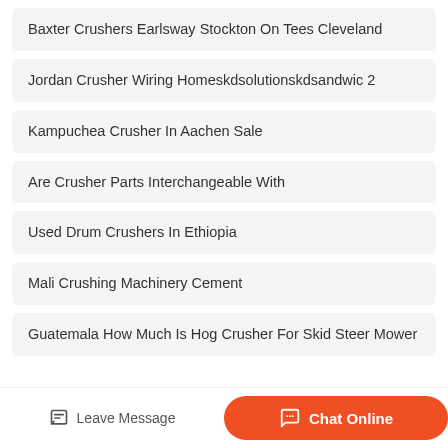Baxter Crushers Earlsway Stockton On Tees Cleveland
Jordan Crusher Wiring Homeskdsolutionskdsandwic 2
Kampuchea Crusher In Aachen Sale
Are Crusher Parts Interchangeable With
Used Drum Crushers In Ethiopia
Mali Crushing Machinery Cement
Guatemala How Much Is Hog Crusher For Skid Steer Mower
Leave Message  Chat Online